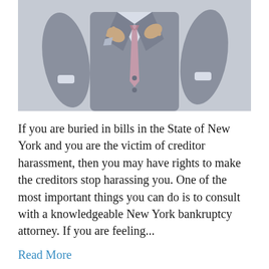[Figure (photo): A man in a grey suit adjusting his tie against a light grey background, photographed from the neck/shoulders down]
If you are buried in bills in the State of New York and you are the victim of creditor harassment, then you may have rights to make the creditors stop harassing you. One of the most important things you can do is to consult with a knowledgeable New York bankruptcy attorney. If you are feeling...
Read More